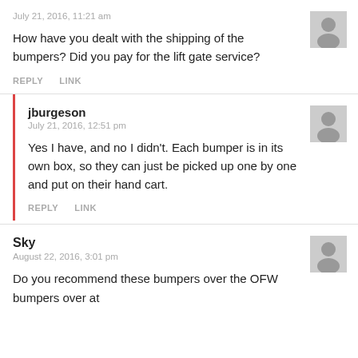July 21, 2016, 11:21 am
How have you dealt with the shipping of the bumpers? Did you pay for the lift gate service?
REPLY   LINK
jburgeson
July 21, 2016, 12:51 pm
Yes I have, and no I didn't. Each bumper is in its own box, so they can just be picked up one by one and put on their hand cart.
REPLY   LINK
Sky
August 22, 2016, 3:01 pm
Do you recommend these bumpers over the OFW bumpers over at